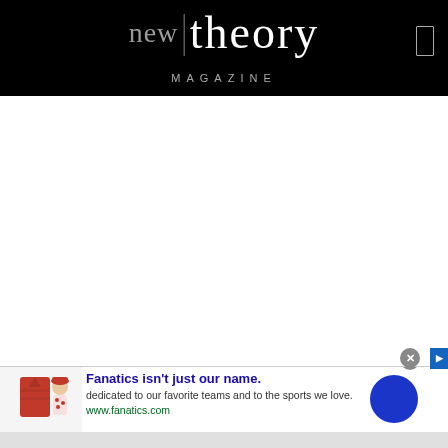new theory MAGAZINE
[Figure (screenshot): Advertisement banner for Fanatics with product image showing a red polo shirt and a person wearing a red hat. Text reads: Fanatics isn't just our name. dedicated to our favorite teams and to the sports we love. www.fanatics.com]